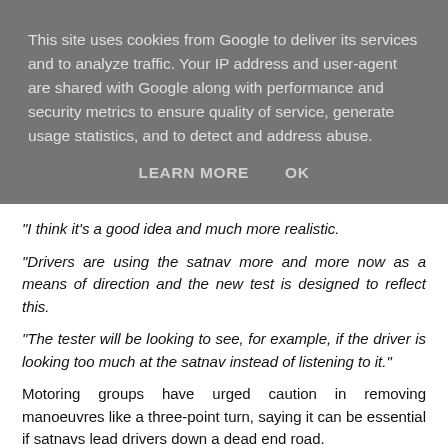This site uses cookies from Google to deliver its services and to analyze traffic. Your IP address and user-agent are shared with Google along with performance and security metrics to ensure quality of service, generate usage statistics, and to detect and address abuse.
LEARN MORE   OK
"I think it's a good idea and much more realistic.
"Drivers are using the satnav more and more now as a means of direction and the new test is designed to reflect this.
"The tester will be looking to see, for example, if the driver is looking too much at the satnav instead of listening to it."
Motoring groups have urged caution in removing manoeuvres like a three-point turn, saying it can be essential if satnavs lead drivers down a dead end road.